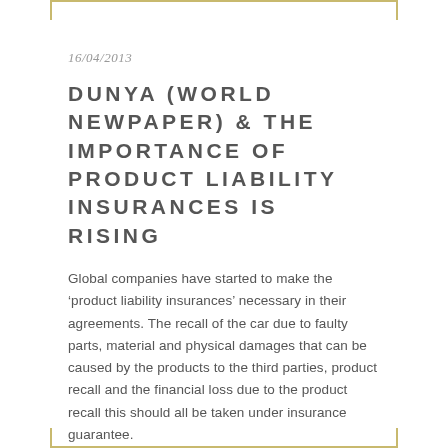16/04/2013
DUNYA (WORLD NEWPAPER) & THE IMPORTANCE OF PRODUCT LIABILITY INSURANCES IS RISING
Global companies have started to make the ‘product liability insurances’ necessary in their agreements. The recall of the car due to faulty parts, material and physical damages that can be caused by the products to the third parties, product recall and the financial loss due to the product recall this should all be taken under insurance guarantee.